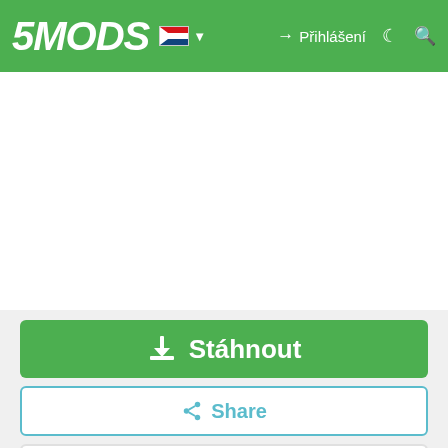5MODS — Přihlášení
[Figure (screenshot): White advertisement area placeholder]
Stáhnout
Share
sj storm